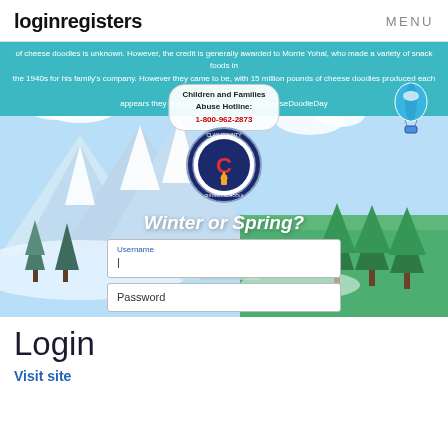loginregisters   MENU
[Figure (screenshot): Screenshot of Clay County school district login page showing a winter/spring themed background with snowy mountains on the left and green trees on the right, a Clay County seal/logo, Children and Families Abuse Hotline information, a hot air balloon, and a login form with Username, Password fields and Sign In button.]
Login
Visit site